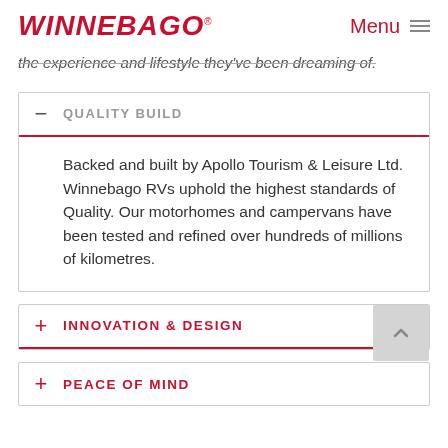WINNEBAGO Menu
the experience and lifestyle they've been dreaming of.
QUALITY BUILD
Backed and built by Apollo Tourism & Leisure Ltd. Winnebago RVs uphold the highest standards of Quality. Our motorhomes and campervans have been tested and refined over hundreds of millions of kilometres.
INNOVATION & DESIGN
PEACE OF MIND